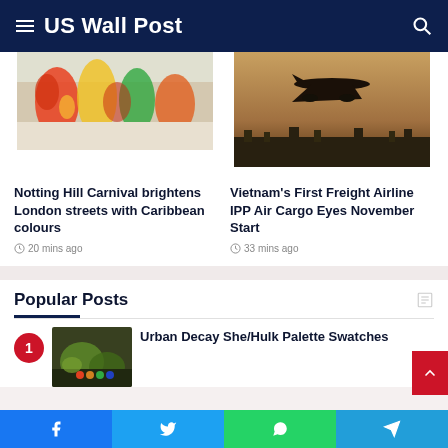US Wall Post
[Figure (photo): Colorful carnival performers in bright costumes, Notting Hill Carnival]
Notting Hill Carnival brightens London streets with Caribbean colours
20 mins ago
[Figure (photo): Airplane silhouette landing against a dusky orange-brown sky]
Vietnam's First Freight Airline IPP Air Cargo Eyes November Start
33 mins ago
Popular Posts
Urban Decay She/Hulk Palette Swatches
[Figure (photo): Urban Decay makeup palette with green and yellow colors]